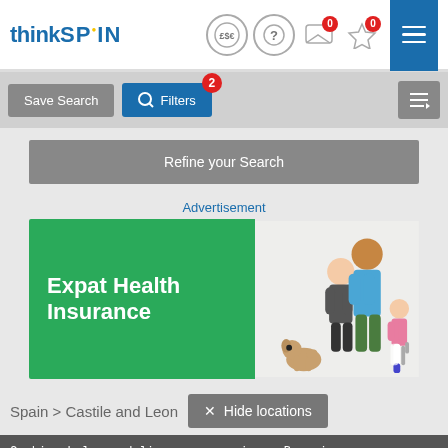[Figure (screenshot): thinkSPAIN website header with logo, currency/help/message/star icons with notification badges (0, 0), and hamburger menu button in blue]
[Figure (screenshot): Toolbar with Save Search button (grey), Filters button (blue) with badge showing 2, and sort button on right]
Refine your Search
Advertisement
[Figure (illustration): Expat Health Insurance advertisement banner. Left side green background with white bold text 'Expat Health Insurance'. Right side shows illustrated family (man, woman, child with crutch, dog).]
Spain > Castile and Leon
× Hide locations
Cookies help us deliver our services. By using our services, you agree to our use of cookies.
OK
More information